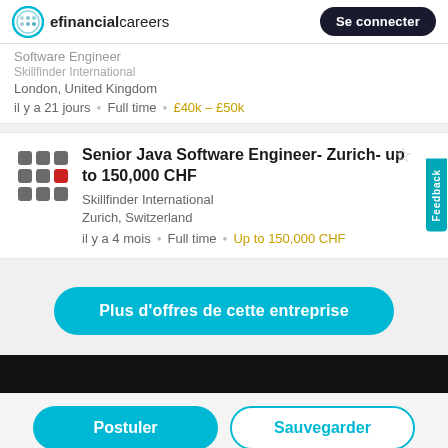efinancialcareers | Se connecter
Software Engineer
London, United Kingdom
il y a 21 jours • Full time • £40k – £50k
Senior Java Software Engineer- Zurich- up to 150,000 CHF
Skillfinder International
Zurich, Switzerland
il y a 4 mois • Full time • Up to 150,000 CHF
Plus d'offres de cette entreprise
Postuler
Sauvegarder